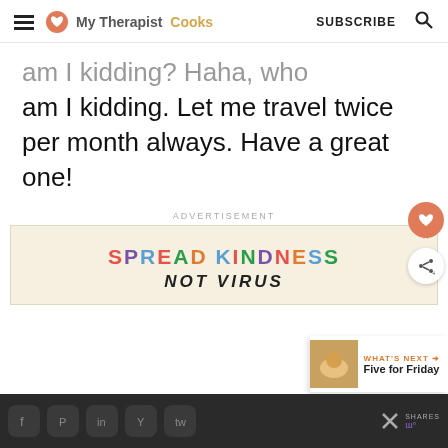My Therapist Cooks | SUBSCRIBE
am I kidding. Let me travel twice per month always. Have a great one!
ADVERTISEMENT
[Figure (infographic): Advertisement banner: 'SPREAD KINDNESS NOT VIRUS' in colorful bold letters on a cream background]
WHAT'S NEXT → Five for Friday | social share buttons | SHARES